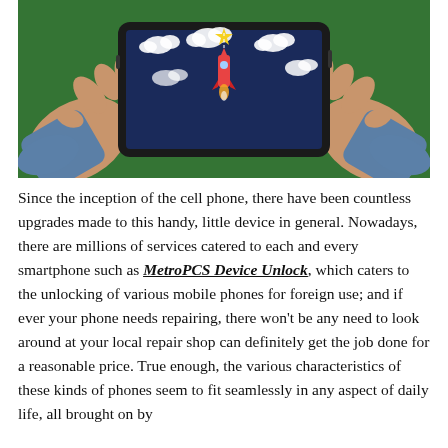[Figure (illustration): Illustration of two hands holding a smartphone horizontally in landscape mode. The phone screen shows a dark blue sky with white clouds and a rocket ship ascending toward a yellow star. The background shows a green textured surface.]
Since the inception of the cell phone, there have been countless upgrades made to this handy, little device in general. Nowadays, there are millions of services catered to each and every smartphone such as MetroPCS Device Unlock, which caters to the unlocking of various mobile phones for foreign use; and if ever your phone needs repairing, there won't be any need to look around at your local repair shop can definitely get the job done for a reasonable price. True enough, the various characteristics of these kinds of phones seem to fit seamlessly in any aspect of daily life, all brought on by